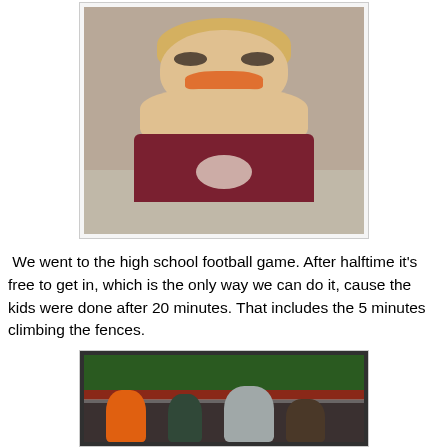[Figure (photo): Young blonde boy holding an orange carrot up to his face/nose with both hands, wearing a dark red/maroon shirt, looking at camera]
We went to the high school football game. After halftime it's free to get in, which is the only way we can do it, cause the kids were done after 20 minutes. That includes the 5 minutes climbing the fences.
[Figure (photo): Children at a football game, viewed from behind, standing at a fence looking at the field. The football field with red track is visible. Kids are wearing winter jackets.]